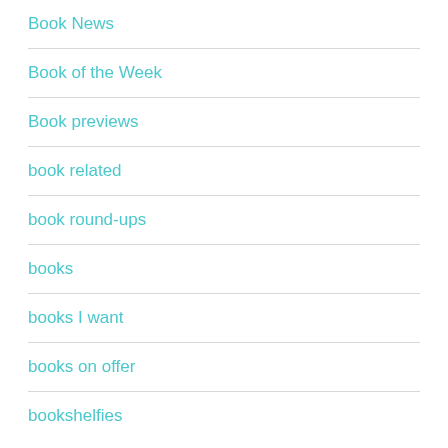Book News
Book of the Week
Book previews
book related
book round-ups
books
books I want
books on offer
bookshelfies